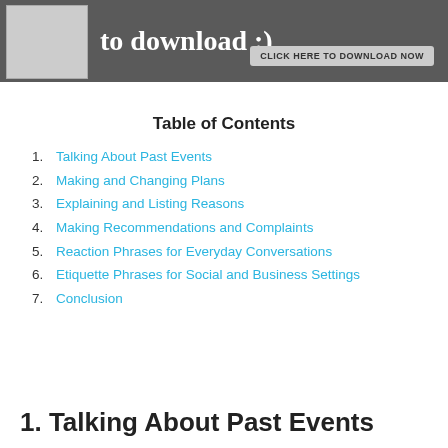[Figure (screenshot): Banner with document preview images on the left, handwritten-style text 'to download :)' and a 'CLICK HERE TO DOWNLOAD NOW' button on dark grey background]
Table of Contents
1. Talking About Past Events
2. Making and Changing Plans
3. Explaining and Listing Reasons
4. Making Recommendations and Complaints
5. Reaction Phrases for Everyday Conversations
6. Etiquette Phrases for Social and Business Settings
7. Conclusion
1. Talking About Past Events